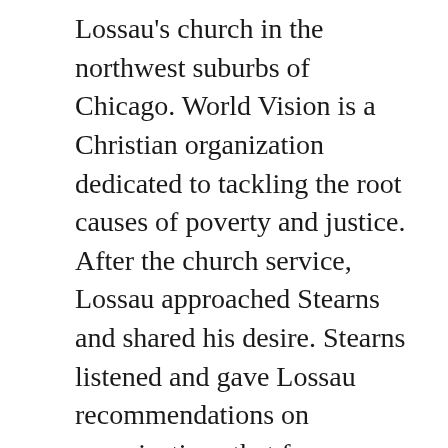Lossau's church in the northwest suburbs of Chicago. World Vision is a Christian organization dedicated to tackling the root causes of poverty and justice. After the church service, Lossau approached Stearns and shared his desire. Stearns listened and gave Lossau recommendations on organizations that focus on sustainability in Africa. Lossau's subsequent research led him to Global Hope Network International (GHNI), which goes into the poorest villages of the world and transforms them holistically by training and teaching residents to contribute directly to clean drinking water, growing nutritious food, education for all children, and disease prevention.